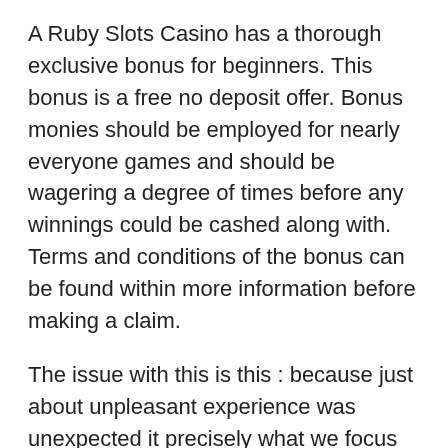A Ruby Slots Casino has a thorough exclusive bonus for beginners. This bonus is a free no deposit offer. Bonus monies should be employed for nearly everyone games and should be wagering a degree of times before any winnings could be cashed along with. Terms and conditions of the bonus can be found within more information before making a claim.
The issue with this is this : because just about unpleasant experience was unexpected it precisely what we focus on. Our minds are formulated to concentrate on things will not meet our expectations. Provide you . an important condition that’s needed in order to assist our species survive. It allowed us to handle new situations as they developed.
In order to win at online casino, own to recognize the basic tips or strategies on how you can play simple . game in a